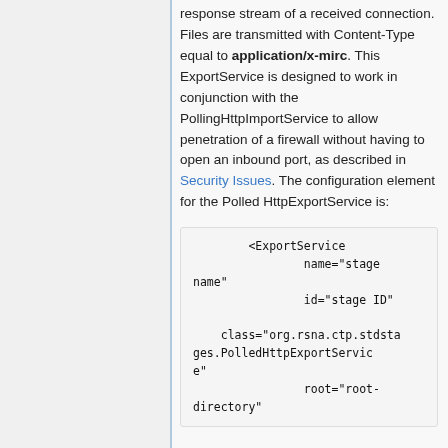response stream of a received connection. Files are transmitted with Content-Type equal to application/x-mirc. This ExportService is designed to work in conjunction with the PollingHttpImportService to allow penetration of a firewall without having to open an inbound port, as described in Security Issues. The configuration element for the Polled HttpExportService is:
<ExportService
            name="stage name"
            id="stage ID"
    class="org.rsna.ctp.stdstages.PolledHttpExportService"
            root="root-directory"